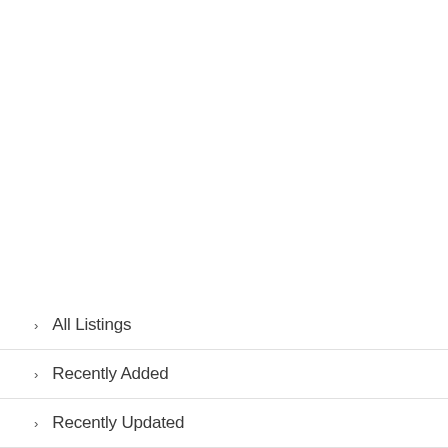All Listings
Recently Added
Recently Updated